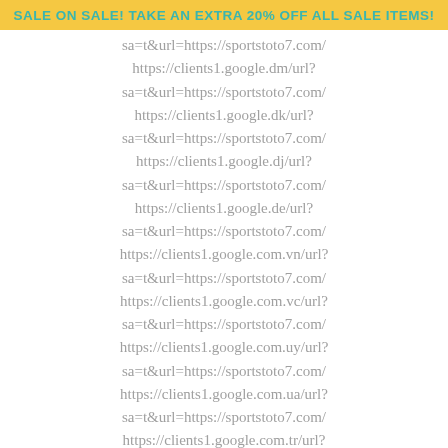SALE ON SALE! TAKE AN EXTRA 20% OFF ALL SALE ITEMS!
sa=t&url=https://sportstoto7.com/ https://clients1.google.dm/url? sa=t&url=https://sportstoto7.com/ https://clients1.google.dk/url? sa=t&url=https://sportstoto7.com/ https://clients1.google.dj/url? sa=t&url=https://sportstoto7.com/ https://clients1.google.de/url? sa=t&url=https://sportstoto7.com/ https://clients1.google.com.vn/url? sa=t&url=https://sportstoto7.com/ https://clients1.google.com.vc/url? sa=t&url=https://sportstoto7.com/ https://clients1.google.com.uy/url? sa=t&url=https://sportstoto7.com/ https://clients1.google.com.ua/url? sa=t&url=https://sportstoto7.com/ https://clients1.google.com.tr/url? sa=t&url=https://sportstoto7.com/